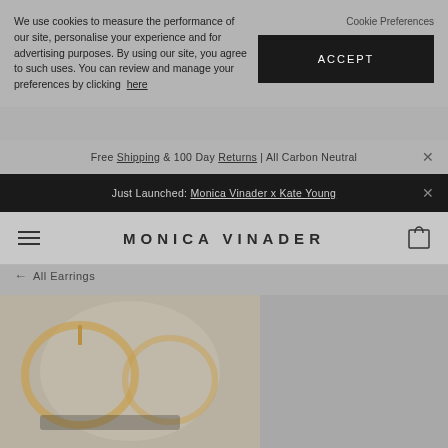We use cookies to measure the performance of our site, personalise your experience and for advertising purposes. By using our site, you agree to such uses. You can review and manage your preferences by clicking here
Cookie Preferences
ACCEPT
Free Shipping & 100 Day Returns | All Carbon Neutral
Just Launched: Monica Vinader x Kate Young
MONICA VINADER
← All Earrings
[Figure (photo): Product photo of Monica Vinader earrings, showing jewelry items in warm tones on a light background]